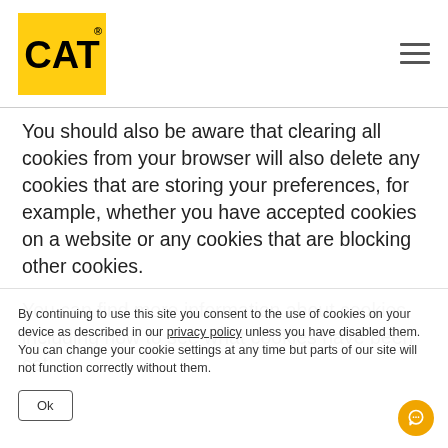CAT logo and navigation menu
You should also be aware that clearing all cookies from your browser will also delete any cookies that are storing your preferences, for example, whether you have accepted cookies on a website or any cookies that are blocking other cookies.
You can find more information about cookies, including how to see what cookies have been set
By continuing to use this site you consent to the use of cookies on your device as described in our privacy policy unless you have disabled them. You can change your cookie settings at any time but parts of our site will not function correctly without them.
Ok